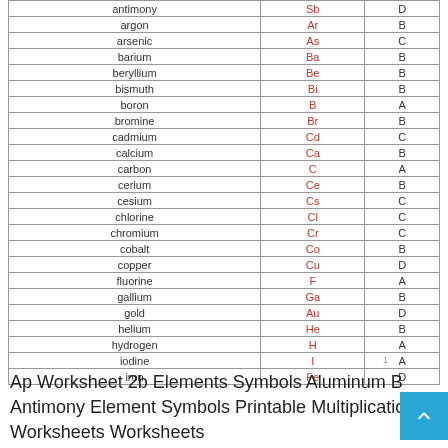| Element | Symbol | Grade |
| --- | --- | --- |
| antimony | Sb | D |
| argon | Ar | B |
| arsenic | As | C |
| barium | Ba | B |
| beryllium | Be | B |
| bismuth | Bi | B |
| boron | B | A |
| bromine | Br | B |
| cadmium | Cd | C |
| calcium | Ca | B |
| carbon | C | A |
| cerium | Ce | B |
| cesium | Cs | C |
| chlorine | Cl | C |
| chromium | Cr | C |
| cobalt | Co | B |
| copper | Cu | D |
| fluorine | F | A |
| gallium | Ga | B |
| gold | Au | D |
| helium | He | B |
| hydrogen | H | A |
| iodine | I | A |
| iron | Fe | D |
Ap Worksheet 2b Elements Symbols Aluminum B Antimony Element Symbols Printable Multiplication Worksheets Worksheets